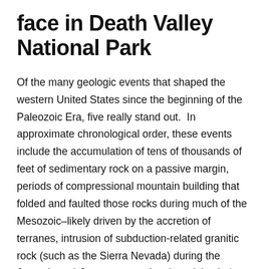face in Death Valley National Park
Of the many geologic events that shaped the western United States since the beginning of the Paleozoic Era, five really stand out.  In approximate chronological order, these events include the accumulation of tens of thousands of feet of sedimentary rock on a passive margin, periods of compressional mountain building that folded and faulted those rocks during much of the Mesozoic–likely driven by the accretion of terranes, intrusion of subduction-related granitic rock (such as the Sierra Nevada) during the Jurassic and Cretaceous, volcanic activity during the late Cenozoic, and mountain-building by crustal extension during the late Cenozoic and continuing today.  This photo on the western edge of